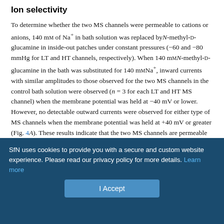Ion selectivity
To determine whether the two MS channels were permeable to cations or anions, 140 mM of Na+ in bath solution was replaced by N-methyl-D-glucamine in inside-out patches under constant pressures (−60 and −80 mmHg for LT and HT channels, respectively). When 140 mMN-methyl-D-glucamine in the bath was substituted for 140 mMNa+, inward currents with similar amplitudes to those observed for the two MS channels in the control bath solution were observed (n = 3 for each LT and HT MS channel) when the membrane potential was held at −40 mV or lower. However, no detectable outward currents were observed for either type of MS channels when the membrane potential was held at +40 mV or greater (Fig. 4A). These results indicate that the two MS channels are permeable to cations
SfN uses cookies to provide you with a secure and custom website experience. Please read our privacy policy for more details. Learn more
I Accept